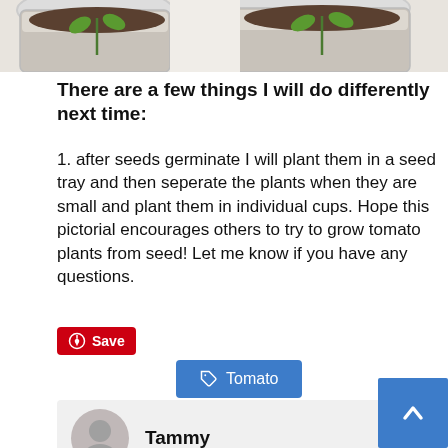[Figure (photo): Top portion of a photo showing white pots with soil and small green seedlings]
There are a few things I will do differently next time:
1. after seeds germinate I will plant them in a seed tray and then seperate the plants when they are small and plant them in individual cups. Hope this pictorial encourages others to try to grow tomato plants from seed!  Let me know if you have any questions.
[Figure (other): Pinterest Save button (red) and Tomato tag button (blue)]
Tammy
[Figure (other): Gray user avatar circle icon in comment section]
[Figure (other): Blue scroll-to-top button with up arrow]